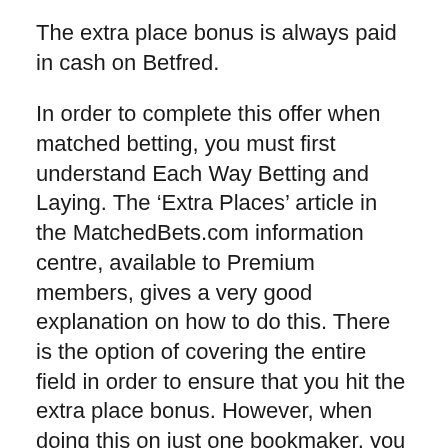The extra place bonus is always paid in cash on Betfred.
In order to complete this offer when matched betting, you must first understand Each Way Betting and Laying. The ‘Extra Places’ article in the MatchedBets.com information centre, available to Premium members, gives a very good explanation on how to do this. There is the option of covering the entire field in order to ensure that you hit the extra place bonus. However, when doing this on just one bookmaker, you may not be able to find a close match on each selection, which means you wouldn’t be able to keep qualifying losses low enough to justify playing the offer this way.